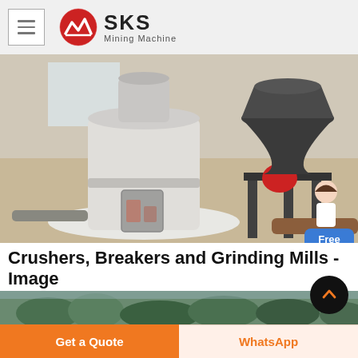SKS Mining Machine
[Figure (photo): Industrial grinding mill and crusher equipment photographed in a factory/warehouse setting. A large white vertical mill is prominent on the left, with a dark grey cone crusher on a metal frame visible on the right.]
Crushers, Breakers and Grinding Mills - Image
Browse the list below for Crushers, Breakers and Grinding Mills imagery , QMS offers an unrivalled selection of after-market cone crusher spare and.
[Figure (photo): Partial bottom strip showing outdoor scenery with trees/vegetation, suggesting a quarry or mining site environment.]